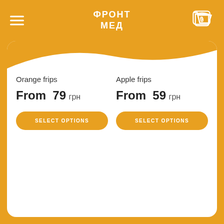ФРОНТ МЕД
Orange frips
From 79 грн
Apple frips
From 59 грн